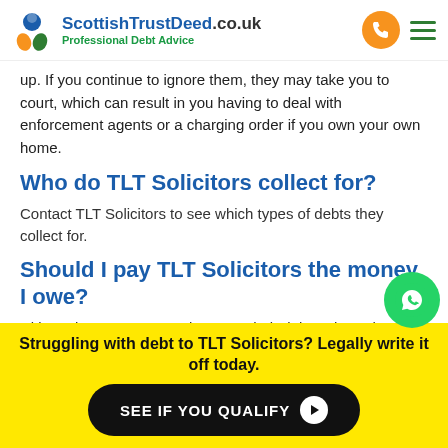ScottishTrustDeed.co.uk – Professional Debt Advice
up. If you continue to ignore them, they may take you to court, which can result in you having to deal with enforcement agents or a charging order if you own your own home.
Who do TLT Solicitors collect for?
Contact TLT Solicitors to see which types of debts they collect for.
Should I pay TLT Solicitors the money I owe?
Ultimately, everyone needs to pay their debts where they afford to…
Struggling with debt to TLT Solicitors? Legally write it off today.
SEE IF YOU QUALIFY